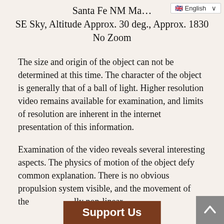Santa Fe NM Ma… SE Sky, Altitude Approx. 30 deg., Approx. 1830 No Zoom
The size and origin of the object can not be determined at this time. The character of the object is generally that of a ball of light. Higher resolution video remains available for examination, and limits of resolution are inherent in the internet presentation of this information.
Examination of the video reveals several interesting aspects. The physics of motion of the object defy common explanation. There is no obvious propulsion system visible, and the movement of the … lly non-linear.